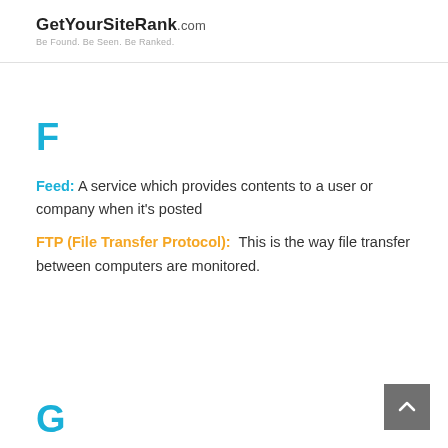GetYourSiteRank.com — Be Found. Be Seen. Be Ranked.
F
Feed: A service which provides contents to a user or company when it's posted
FTP (File Transfer Protocol): This is the way file transfer between computers are monitored.
G